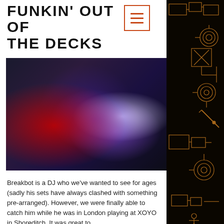FUNKIN' OUT OF THE DECKS
[Figure (photo): Blurred concert/club photo showing stage lighting effects with red and purple/blue light beams against a dark background]
Breakbot is a DJ who we've wanted to see for ages (sadly his sets have always clashed with something pre-arranged). However, we were finally able to catch him while he was in London playing at XOYO in Shoreditch. It was great to